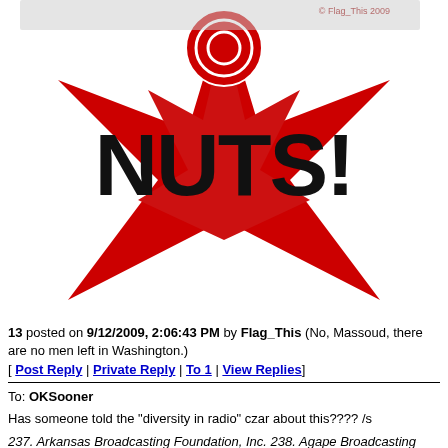[Figure (illustration): Red star with lightning bolt shape, NUTS! text in large bold black letters overlaid, small copyright text '© Flag_This 2009' in upper right, circular logo element at top]
13 posted on 9/12/2009, 2:06:43 PM by Flag_This (No, Massoud, there are no men left in Washington.)
[ Post Reply | Private Reply | To 1 | View Replies]
To: OKSooner
Has someone told the "diversity in radio" czar about this???? /s
237. Arkansas Broadcasting Foundation, Inc. 238. Agape Broadcasting Foundation, Inc. 239. Affiliated Media Foundation Movement, Inc. 240. Allied Media Projects, Inc. 241. ACORN National Broadcasting Network, Inc. 242. Alabama Radio Movement, Inc. (Dissolved) 243. ACORN Television in Action for Communities, Inc. 244. California Community Television Network 245. Flagstaff Broadcasting Foundation, Inc. 246. Iowa ACORN Broadcasting Corporation 247. Maricopa Community Television Project, Inc. 248. Montana Radio Network, Inc. 249. Radio New